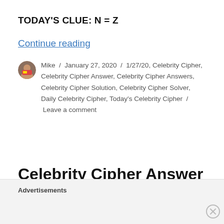TODAY'S CLUE: N = Z
Continue reading
Mike / January 27, 2020 / 1/27/20, Celebrity Cipher, Celebrity Cipher Answer, Celebrity Cipher Answers, Celebrity Cipher Solution, Celebrity Cipher Solver, Daily Celebrity Cipher, Today's Celebrity Cipher / Leave a comment
Celebrity Cipher Answer for 01/25/2020
Advertisements